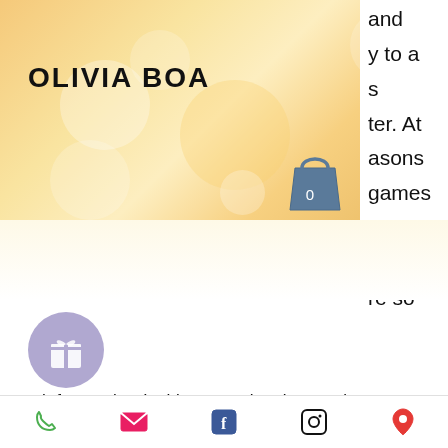[Figure (screenshot): Website header banner with orange/gold bokeh background, OLIVIA BOA logo, shopping bag icon with 0, and hamburger menu icon]
and
y to a
s
ter. At
asons
games
ly
e slot
re so
much fun to play. In this game, the player enjoys excellent features like amazing graphics and exciting themes. They're responsively designed, look great on your screen, and turbocharge the fun with some bumper mobile bonuses. The experts at playtogga. The action includes many of the same new and classic slot games available on our main casino floor. Just straight up fun. Rivers casino for fun is a social gaming site that accepts players from the us and canada.
[Figure (illustration): Purple circle button with gift/present icon]
Phone | Email | Facebook | Instagram | Location icons in bottom toolbar